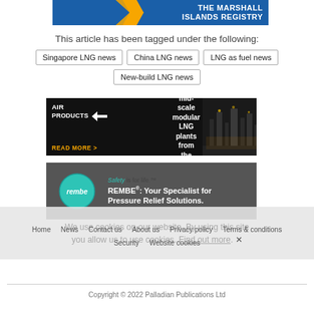[Figure (illustration): The Marshall Islands Registry banner ad with ship image, orange arrows, and blue background with white bold text.]
This article has been tagged under the following:
Singapore LNG news
China LNG news
LNG as fuel news
New-build LNG news
[Figure (illustration): Air Products advertisement: Small and mid-scale modular LNG plants from the world leader. READ MORE >]
[Figure (illustration): REMBE advertisement: Safety is for life. REMBE: Your Specialist for Pressure Relief Solutions.]
Home  News  Contact us  About us  Privacy policy  Terms & conditions  Security  Website cookies
Copyright © 2022 Palladian Publications Ltd